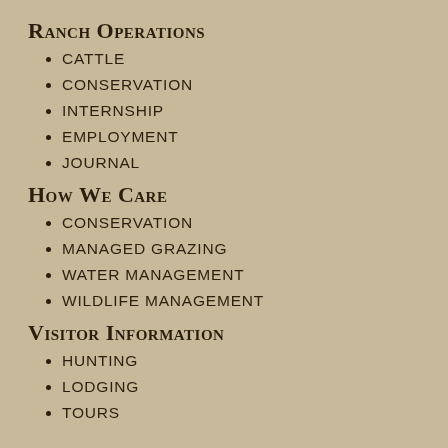Ranch Operations
CATTLE
CONSERVATION
INTERNSHIP
EMPLOYMENT
JOURNAL
How We Care
CONSERVATION
MANAGED GRAZING
WATER MANAGEMENT
WILDLIFE MANAGEMENT
Visitor Information
HUNTING
LODGING
TOURS